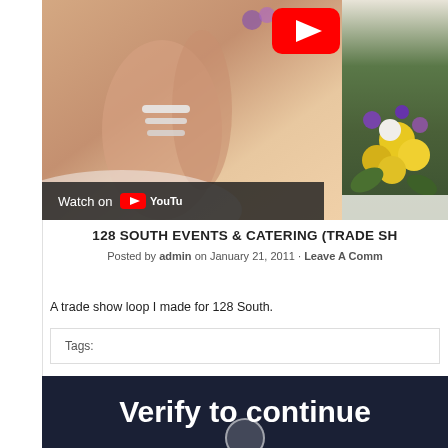[Figure (screenshot): YouTube embedded video thumbnail showing hands with rings on the left and flowers on the right, with a 'Watch on YouTube' overlay bar and YouTube play button]
128 SOUTH EVENTS & CATERING (TRADE SH...
Posted by admin on January 21, 2011 · Leave A Comm...
A trade show loop I made for 128 South.
Tags:
[Figure (screenshot): Dark navy blue 'Verify to continue' block with white bold text]